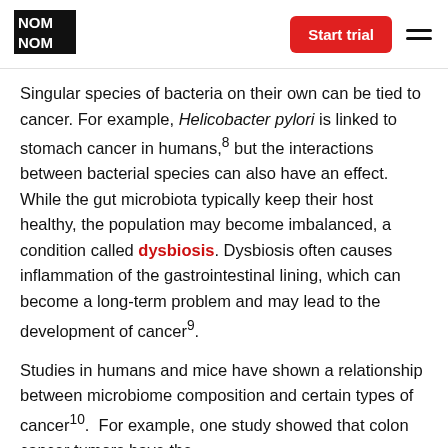NOM NOM | Start trial
Singular species of bacteria on their own can be tied to cancer. For example, Helicobacter pylori is linked to stomach cancer in humans,8 but the interactions between bacterial species can also have an effect. While the gut microbiota typically keep their host healthy, the population may become imbalanced, a condition called dysbiosis. Dysbiosis often causes inflammation of the gastrointestinal lining, which can become a long-term problem and may lead to the development of cancer9.
Studies in humans and mice have shown a relationship between microbiome composition and certain types of cancer10. For example, one study showed that colon cancer tumors have the